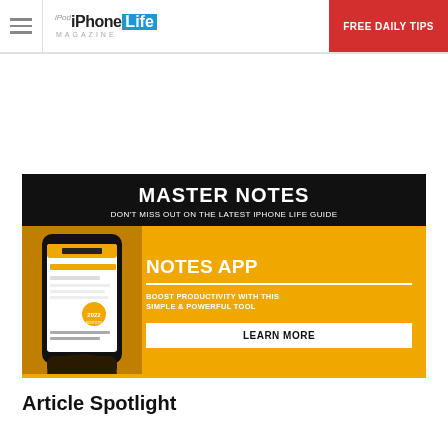iPhone Life Magazine | FREE DAILY TIPS
[Figure (infographic): iPhone Life Magazine advertisement banner for Notes App guide: 'MASTER NOTES - DON'T MISS OUT ON THE LATEST IPHONE LIFE GUIDE' with image of phone showing Notes App and text 'NOTES APP - BOOST PRODUCTIVITY WITH THIS SIMPLE & POWERFUL TOOL - LEARN MORE']
Article Spotlight